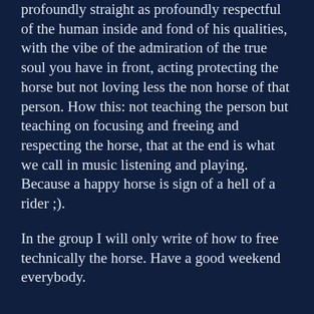profoundly straight as profoundly respectful of the human inside and fond of his qualities, with the vibe of the admiration of the true soul you have in front, acting protecting the horse but not loving less the non horse of that person. How this: not teaching the person but teaching on focusing and freeing and respecting the horse, that at the end is what we call in music listening and playing. Because a happy horse is sign of a hell of a rider ;).
In the group I will only write of how to free technically the horse. Have a good weekend everybody.